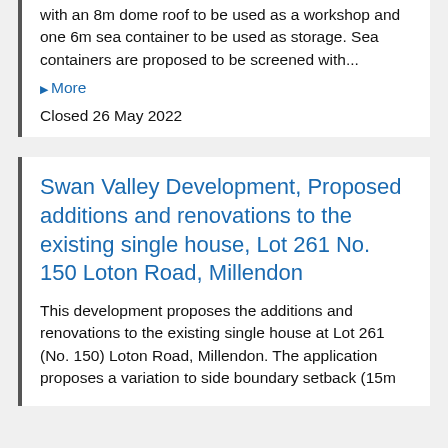with an 8m dome roof to be used as a workshop and one 6m sea container to be used as storage. Sea containers are proposed to be screened with...
▶ More
Closed 26 May 2022
Swan Valley Development, Proposed additions and renovations to the existing single house, Lot 261 No. 150 Loton Road, Millendon
This development proposes the additions and renovations to the existing single house at Lot 261 (No. 150) Loton Road, Millendon. The application proposes a variation to side boundary setback (15m...